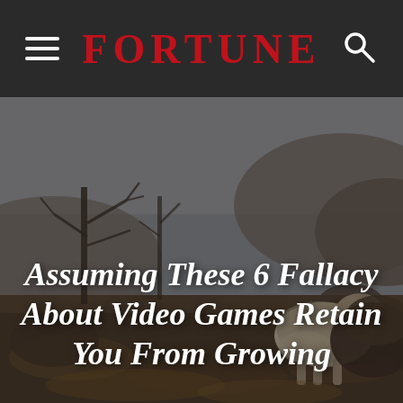FORTUNE
[Figure (photo): Outdoor wilderness scene with bare trees, rocky terrain, and an animal (possibly a shaggy dog or goat) in muted autumn tones. Used as hero background image for article.]
Assuming These 6 Fallacy About Video Games Retain You From Growing